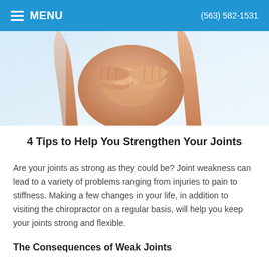MENU  (563) 582-1531
[Figure (photo): Close-up photo of a person holding their knee with both hands, suggesting joint pain or discomfort, against a light blue-white background.]
4 Tips to Help You Strengthen Your Joints
Are your joints as strong as they could be? Joint weakness can lead to a variety of problems ranging from injuries to pain to stiffness. Making a few changes in your life, in addition to visiting the chiropractor on a regular basis, will help you keep your joints strong and flexible.
The Consequences of Weak Joints